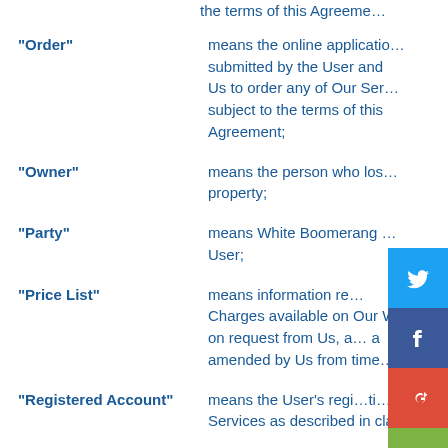the terms of this Agreement;
"Order" means the online application submitted by the User and Us to order any of Our Services subject to the terms of this Agreement;
"Owner" means the person who lost property;
"Party" means White Boomerang or User;
"Price List" means information regarding Charges available on Our Website on request from Us, as amended by Us from time to time;
"Registered Account" means the User's registration for Services as described in clause;
"Registered Item" means any item registered using Item Registration Services;
"Report Link" means the link the User...